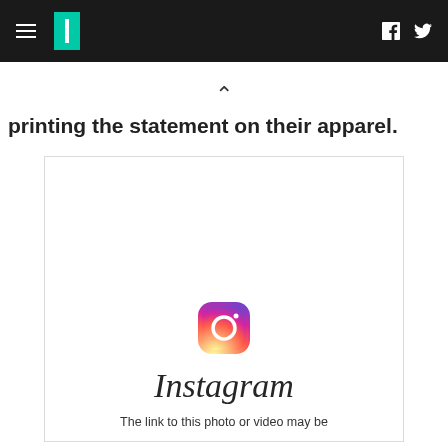HuffPost navigation header with hamburger menu, logo, Facebook and Twitter icons
printing the statement on their apparel.
[Figure (screenshot): Instagram embedded post placeholder showing the Instagram camera logo icon with gradient coloring, the Instagram wordmark in script font, and the text 'The link to this photo or video may be']